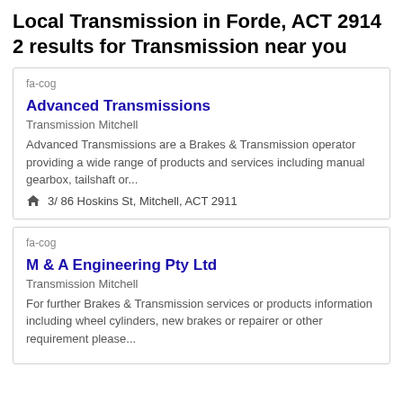Local Transmission in Forde, ACT 2914
2 results for Transmission near you
fa-cog
Advanced Transmissions
Transmission Mitchell
Advanced Transmissions are a Brakes & Transmission operator providing a wide range of products and services including manual gearbox, tailshaft or...
3/ 86 Hoskins St, Mitchell, ACT 2911
fa-cog
M & A Engineering Pty Ltd
Transmission Mitchell
For further Brakes & Transmission services or products information including wheel cylinders, new brakes or repairer or other requirement please...